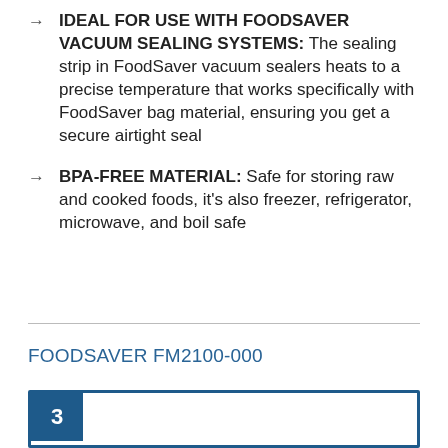IDEAL FOR USE WITH FOODSAVER VACUUM SEALING SYSTEMS: The sealing strip in FoodSaver vacuum sealers heats to a precise temperature that works specifically with FoodSaver bag material, ensuring you get a secure airtight seal
BPA-FREE MATERIAL: Safe for storing raw and cooked foods, it's also freezer, refrigerator, microwave, and boil safe
FOODSAVER FM2100-000
3